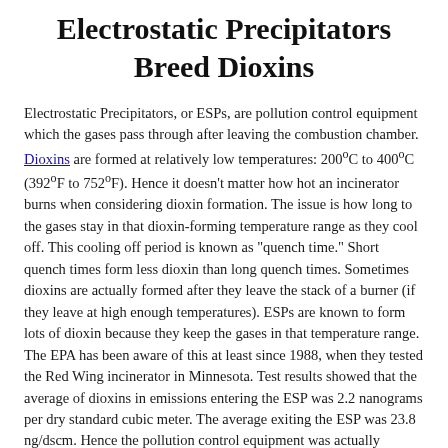Electrostatic Precipitators Breed Dioxins
Electrostatic Precipitators, or ESPs, are pollution control equipment which the gases pass through after leaving the combustion chamber. Dioxins are formed at relatively low temperatures: 200°C to 400°C (392°F to 752°F). Hence it doesn't matter how hot an incinerator burns when considering dioxin formation. The issue is how long to the gases stay in that dioxin-forming temperature range as they cool off. This cooling off period is known as "quench time." Short quench times form less dioxin than long quench times. Sometimes dioxins are actually formed after they leave the stack of a burner (if they leave at high enough temperatures). ESPs are known to form lots of dioxin because they keep the gases in that temperature range. The EPA has been aware of this at least since 1988, when they tested the Red Wing incinerator in Minnesota. Test results showed that the average of dioxins in emissions entering the ESP was 2.2 nanograms per dry standard cubic meter. The average exiting the ESP was 23.8 ng/dscm. Hence the pollution control equipment was actually causing more than a 10-fold increase in the most toxic chemicals ever studied -- dioxins.